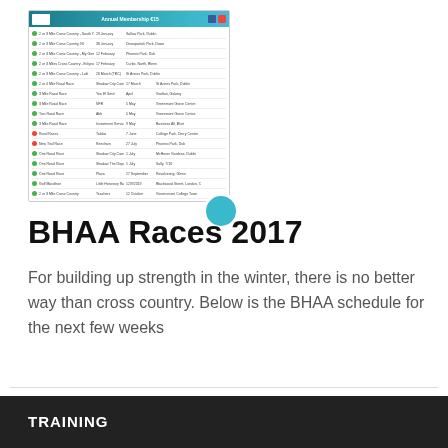[Figure (screenshot): Screenshot of a BHAA Annual Membership schedule/race calendar page showing a table with race distances, names, dates, and venues. Has a teal/blue header with logo and social media icons.]
BHAA Races 2017
For building up strength in the winter, there is no better way than cross country. Below is the BHAA schedule for the next few weeks
TRAINING